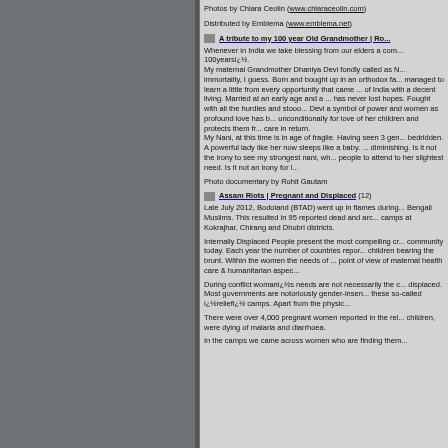Photos by Chiara Ceolin (www.chiaraceolin.com)
Distributed by Emblema (www.emblema.net)
A tribute to my 100 year Old Grandmother | Ro...
Whenever in India we take blessing from our elders a com... 100yearsi¿½. My maternal Grandmother Dhaniya Devi fondly called as N... immortality, I guess. Born and bought up in an orthodox fa... managed to learn a little from every opportunity that came ... of India with a decent living. Married at an early age and a ... has never lost hopes. Fought with all the hurdles and stooo... Devi a symbol of power and women as profound love has b... unconditionally for love of her children and protects them fr... care in return. My Nani, at this time is in age of fragile. Having seen 3 gen... bedridden. A powerful lady like her now sleeps like a baby. ... diminishing. Is it not the irony to see my strongest nani, wh... people to attend to her slightest need. Is it not an irony for l...
Photo documentary by Rohit Gautam
Assam Riots | Pregnant and Displaced (12)
Late July 2012, Bodoland (BTAD) went up in flames during... Bengali Muslims. This resulted in 95 reported dead and arc... camps at Kokrajhar, Chirang and Dhubri districts.
Internally Displaced People present the most compelling cr... community today. Each year the number of countries repor... children bearing the brunt. Within the women the needs of ... point of view of maternal health care & humanitarian aspec...
During conflict womani¿½s needs are not necessarily the c... displaced. Most governments are notoriously gender-insen... these so-called i¿½reliefi¿½ camps. Apart from the physic...
There were over 4,000 pregnant women reported in the rel... children, were dying of malaria and diarrhoea.
In the camps we came across women who are finding them...